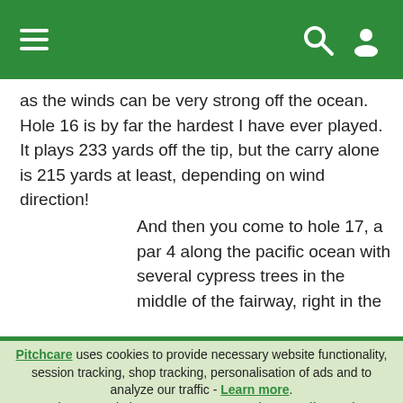Pitchcare website header with hamburger menu, search icon, and user icon
as the winds can be very strong off the ocean. Hole 16 is by far the hardest I have ever played. It plays 233 yards off the tip, but the carry alone is 215 yards at least, depending on wind direction!
And then you come to hole 17, a par 4 along the pacific ocean with several cypress trees in the middle of the fairway, right in the
Pitchcare uses cookies to provide necessary website functionality, session tracking, shop tracking, personalisation of ads and to analyze our traffic - Learn more. By using our website, you agree to our Privacy Policy and our cookies usage.